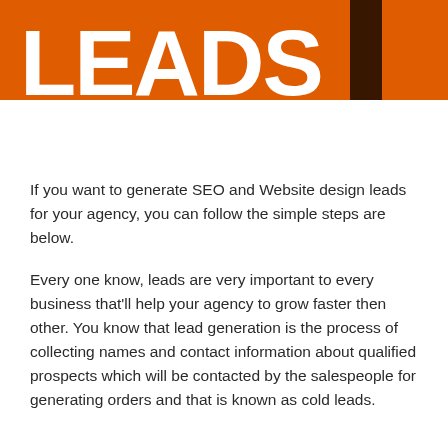[Figure (photo): Orange banner image at top of page with large white bold text reading 'LEADS' partially visible, and a dark vertical stripe/book spine element on the right side]
If you want to generate SEO and Website design leads for your agency, you can follow the simple steps are below.
Every one know, leads are very important to every business that'll help your agency to grow faster then other. You know that lead generation is the process of collecting names and contact information about qualified prospects which will be contacted by the salespeople for generating orders and that is known as cold leads.